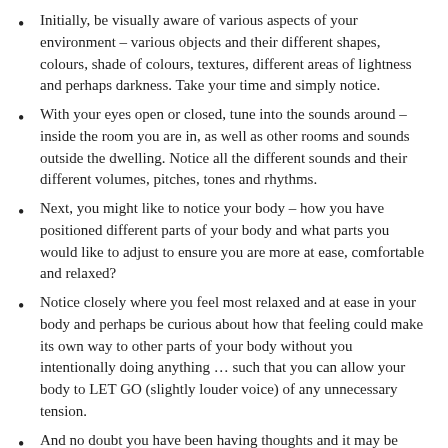Initially, be visually aware of various aspects of your environment – various objects and their different shapes, colours, shade of colours, textures, different areas of lightness and perhaps darkness. Take your time and simply notice.
With your eyes open or closed, tune into the sounds around – inside the room you are in, as well as other rooms and sounds outside the dwelling. Notice all the different sounds and their different volumes, pitches, tones and rhythms.
Next, you might like to notice your body – how you have positioned different parts of your body and what parts you would like to adjust to ensure you are more at ease, comfortable and relaxed?
Notice closely where you feel most relaxed and at ease in your body and perhaps be curious about how that feeling could make its own way to other parts of your body without you intentionally doing anything … such that you can allow your body to LET GO (slightly louder voice) of any unnecessary tension.
And no doubt you have been having thoughts and it may be interesting to observe your thoughts, doing so one thought at a